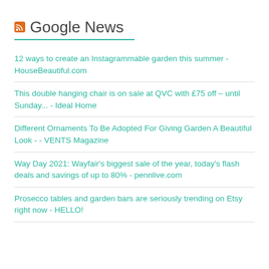Google News
12 ways to create an Instagrammable garden this summer - HouseBeautiful.com
This double hanging chair is on sale at QVC with £75 off – until Sunday... - Ideal Home
Different Ornaments To Be Adopted For Giving Garden A Beautiful Look - - VENTS Magazine
Way Day 2021: Wayfair's biggest sale of the year, today's flash deals and savings of up to 80% - pennlive.com
Prosecco tables and garden bars are seriously trending on Etsy right now - HELLO!